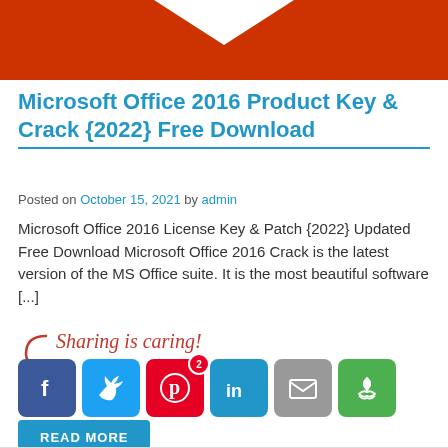[Figure (illustration): Red banner with white downward-pointing chevron/arrow shape at top of page]
Microsoft Office 2016 Product Key & Crack {2022} Free Download
Posted on October 15, 2021 by admin
Microsoft Office 2016 License Key & Patch {2022} Updated Free Download Microsoft Office 2016 Crack is the latest version of the MS Office suite. It is the most beautiful software [...]
[Figure (infographic): Sharing is caring! social sharing buttons: Facebook, Twitter, Pinterest (badge 2), LinkedIn, Email, and a green sharing icon button]
READ MORE